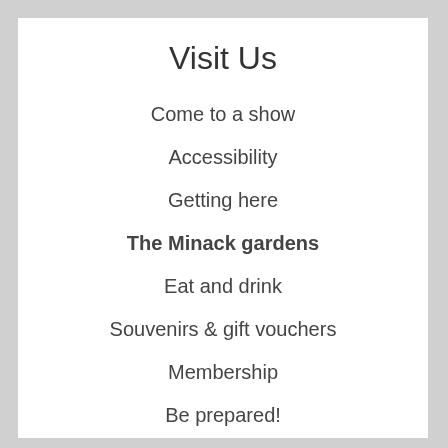Visit Us
Come to a show
Accessibility
Getting here
The Minack gardens
Eat and drink
Souvenirs & gift vouchers
Membership
Be prepared!
Sustainability